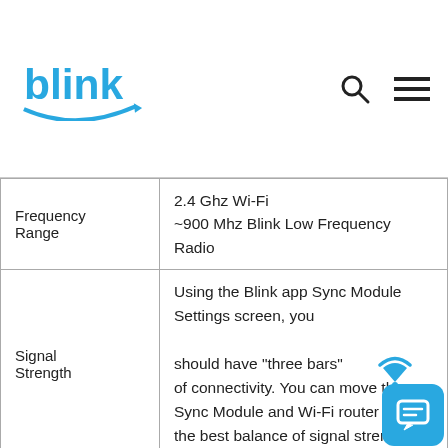blink (logo with search and menu icons)
| Frequency Range | 2.4 Ghz Wi-Fi
~900 Mhz Blink Low Frequency Radio |
| Signal Strength | Using the Blink app Sync Module Settings screen, you should have "three bars" of connectivity. You can move the Sync Module and Wi-Fi router to find the best balance of signal strengths. |